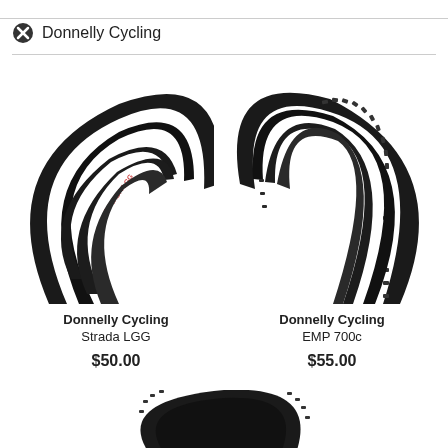Donnelly Cycling
[Figure (photo): Donnelly Cycling Strada LGG bicycle tire, black, smooth road tread, shown as partial arc from top-left]
Donnelly Cycling
Strada LGG
$50.00
[Figure (photo): Donnelly Cycling EMP 700c bicycle tire, black, knobby gravel tread, shown as partial arc from top-right]
Donnelly Cycling
EMP 700c
$55.00
[Figure (photo): Partial top of a third Donnelly Cycling bicycle tire, cropped at bottom of page]